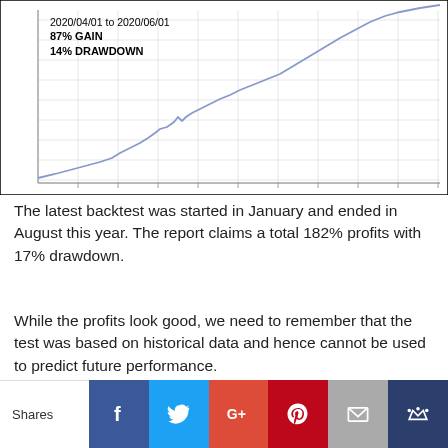[Figure (continuous-plot): Line chart showing backtest equity curve from 2020/04/01 to 2020/06/01. Annotation text: '2020/04/01 to 2020/06/01 / 87% GAIN / 14% DRAWDOWN'. The line trends steeply upward with a minor dip partway through.]
The latest backtest was started in January and ended in August this year. The report claims a total 182% profits with 17% drawdown.
While the profits look good, we need to remember that the test was based on historical data and hence cannot be used to predict future performance.
We know that it is something some traders don't want to hear, but backtesting result alone is not reliable. And when you compare backtesting result with a real